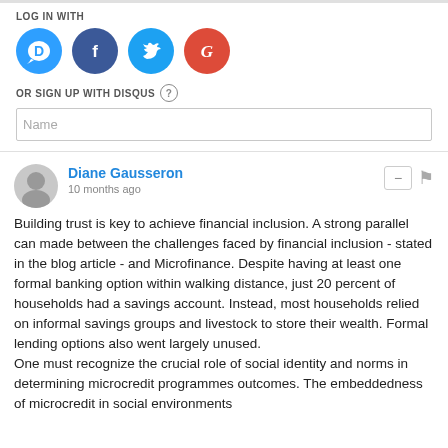LOG IN WITH
[Figure (logo): Social login icons: Disqus (blue chat bubble with D), Facebook (dark blue circle with f), Twitter (light blue circle with bird), Google (red circle with G)]
OR SIGN UP WITH DISQUS ?
Name
Diane Gausseron
10 months ago
Building trust is key to achieve financial inclusion. A strong parallel can made between the challenges faced by financial inclusion - stated in the blog article - and Microfinance. Despite having at least one formal banking option within walking distance, just 20 percent of households had a savings account. Instead, most households relied on informal savings groups and livestock to store their wealth. Formal lending options also went largely unused.
One must recognize the crucial role of social identity and norms in determining microcredit programmes outcomes. The embeddedness of microcredit in social environments